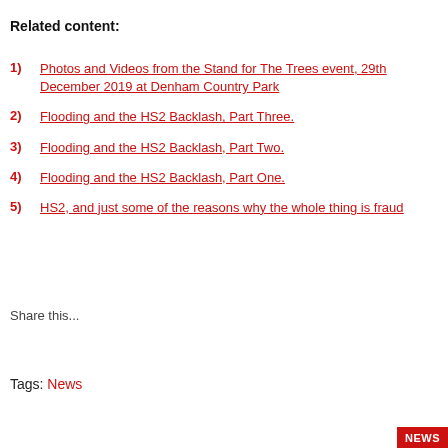Related content:
1) Photos and Videos from the Stand for The Trees event, 29th December 2019 at Denham Country Park
2) Flooding and the HS2 Backlash, Part Three.
3) Flooding and the HS2 Backlash, Part Two.
4) Flooding and the HS2 Backlash, Part One.
5) HS2, and just some of the reasons why the whole thing is fraud
Share this...
Tags: News